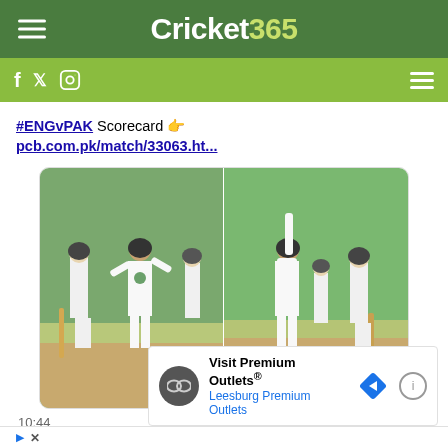Cricket365
#ENGvPAK Scorecard 👉 pcb.com.pk/match/33063.ht...
[Figure (photo): Two side-by-side cricket match photos showing a Pakistan bowler celebrating a wicket against England players in white cricket kit on a green field.]
10:44
Visit Premium Outlets® Leesburg Premium Outlets